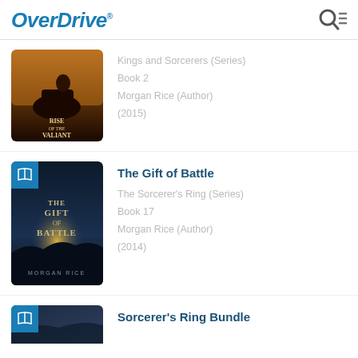OverDrive
[Figure (illustration): Book cover for Rise of the Valiant showing a knight on horseback at dusk]
Kings and Sorcerers (Series)
Book 2
Morgan Rice (Author)
(2015)
The Gift of Battle
[Figure (illustration): Book cover for The Gift of Battle by Morgan Rice showing a dark fantasy landscape with light on the horizon]
The Sorcerer's Ring (Series)
Book 17
Morgan Rice (Author)
(2014)
Sorcerer's Ring Bundle
[Figure (illustration): Partial view of book cover for Sorcerer's Ring Bundle]